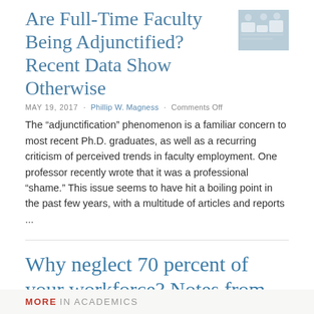Are Full-Time Faculty Being Adjunctified? Recent Data Show Otherwise
MAY 19, 2017 · Phillip W. Magness · Comments Off
The “adjunctification” phenomenon is a familiar concern to most recent Ph.D. graduates, as well as a recurring criticism of perceived trends in faculty employment. One professor recently wrote that it was a professional “shame.” This issue seems to have hit a boiling point in the past few years, with a multitude of articles and reports ...
Why neglect 70 percent of your workforce? Notes from an adjunct
OCT 6, 2014 · Vic Brown · Comments Off
Why neglect 70 percent of your workforce? Notes from an adjunct
MORE IN ACADEMICS